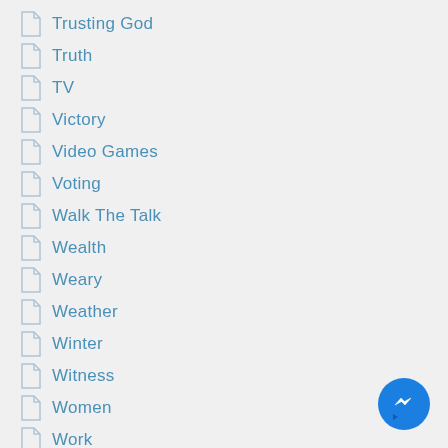Trusting God
Truth
TV
Victory
Video Games
Voting
Walk The Talk
Wealth
Weary
Weather
Winter
Witness
Women
Work
[Figure (logo): Blue circular messenger/chat app button with white lightning bolt icon]